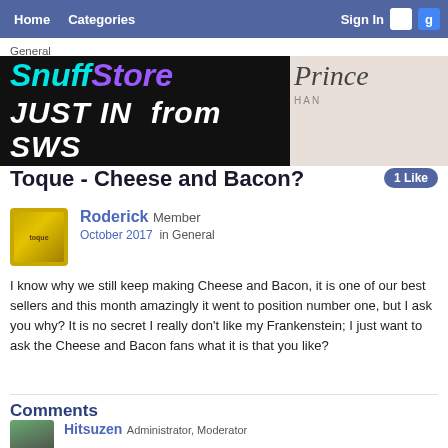Home  Categories  Sign In
General
[Figure (illustration): SnuffStore advertisement banner: black background left side with 'SnuffStore JUST IN from SWS' text in cyan/purple/white italic bold fonts; right side shows cursive 'Prince...' text on light background]
Toque - Cheese and Bacon?
1 Like
Roderick Member
October 2017  in General
I know why we still keep making Cheese and Bacon, it is one of our best sellers and this month amazingly it went to position number one, but I ask you why? It is no secret I really don't like my Frankenstein; I just want to ask the Cheese and Bacon fans what it is that you like?
Comments
Hitsuzen  Administrator, Moderator